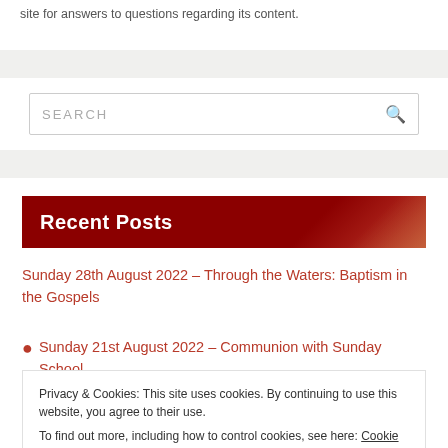site for answers to questions regarding its content.
SEARCH
Recent Posts
Sunday 28th August 2022 – Through the Waters: Baptism in the Gospels
Sunday 21st August 2022 – Communion with Sunday School –
Privacy & Cookies: This site uses cookies. By continuing to use this website, you agree to their use.
To find out more, including how to control cookies, see here: Cookie Policy
Close and accept
the Waters